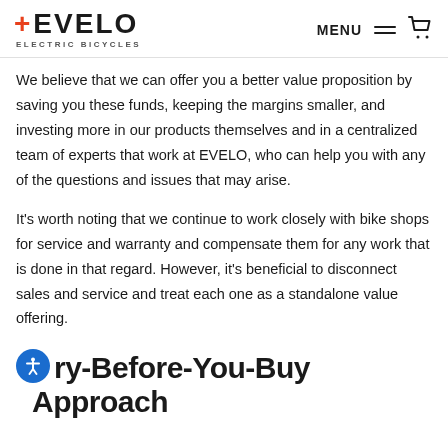EVELO ELECTRIC BICYCLES — MENU
We believe that we can offer you a better value proposition by saving you these funds, keeping the margins smaller, and investing more in our products themselves and in a centralized team of experts that work at EVELO, who can help you with any of the questions and issues that may arise.
It's worth noting that we continue to work closely with bike shops for service and warranty and compensate them for any work that is done in that regard. However, it's beneficial to disconnect sales and service and treat each one as a standalone value offering.
Try-Before-You-Buy Approach